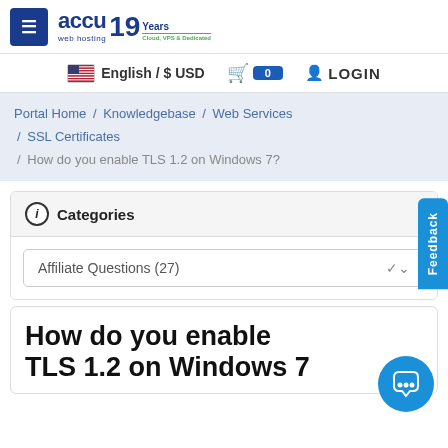≡ accu web hosting 19 Years Cloud, VPS & Dedicated
English / $ USD  🛒 0  LOGIN
Portal Home / Knowledgebase / Web Services / SSL Certificates / How do you enable TLS 1.2 on Windows 7?
Categories
Affiliate Questions (27)
How do you enable TLS 1.2 on Windows 7?